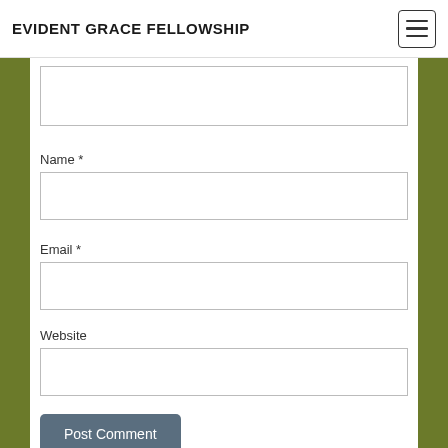EVIDENT GRACE FELLOWSHIP
Name *
Email *
Website
Post Comment